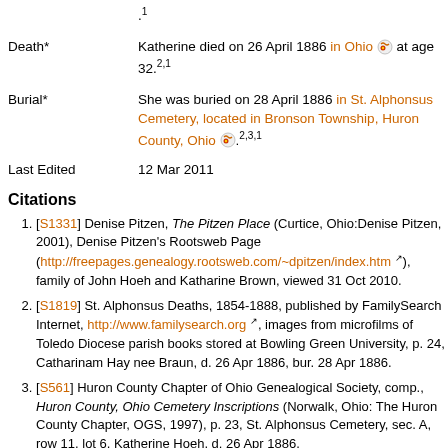.1
Death*	Katherine died on 26 April 1886 in Ohio at age 32.2,1
Burial*	She was buried on 28 April 1886 in St. Alphonsus Cemetery, located in Bronson Township, Huron County, Ohio.2,3,1
Last Edited	12 Mar 2011
Citations
[S1331] Denise Pitzen, The Pitzen Place (Curtice, Ohio:Denise Pitzen, 2001), Denise Pitzen's Rootsweb Page (http://freepages.genealogy.rootsweb.com/~dpitzen/index.htm), family of John Hoeh and Katharine Brown, viewed 31 Oct 2010.
[S1819] St. Alphonsus Deaths, 1854-1888, published by FamilySearch Internet, http://www.familysearch.org, images from microfilms of Toledo Diocese parish books stored at Bowling Green University, p. 24, Catharinam Hay nee Braun, d. 26 Apr 1886, bur. 28 Apr 1886.
[S561] Huron County Chapter of Ohio Genealogical Society, comp., Huron County, Ohio Cemetery Inscriptions (Norwalk, Ohio: The Huron County Chapter, OGS, 1997), p. 23, St. Alphonsus Cemetery, sec. A, row 11, lot 6, Katherine Hoeh, d. 26 Apr 1886.
[S1792] Ohio Deaths and Burials, 1854-1997 [database on-line], published by FamilySearch, http://www.familysearch.org, Index